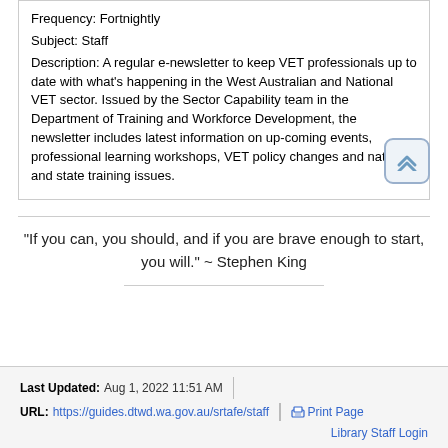Frequency: Fortnightly
Subject: Staff
Description: A regular e-newsletter to keep VET professionals up to date with what's happening in the West Australian and National VET sector. Issued by the Sector Capability team in the Department of Training and Workforce Development, the newsletter includes latest information on up-coming events, professional learning workshops, VET policy changes and national and state training issues.
"If you can, you should, and if you are brave enough to start, you will." ~ Stephen King
Last Updated: Aug 1, 2022 11:51 AM
URL: https://guides.dtwd.wa.gov.au/srtafe/staff
Print Page
Library Staff Login